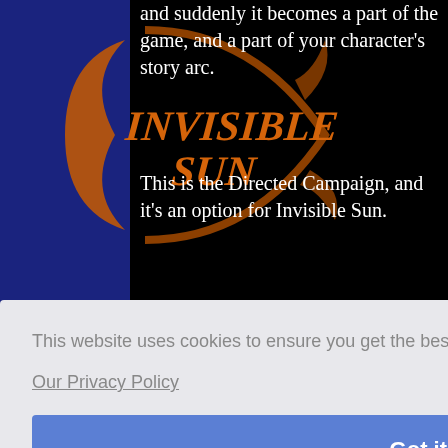[Figure (logo): Invisible Sun game logo with orange/flame-colored stylized text 'INVISIBLE SUN' and crescent/sun design on a dark blue sidebar background]
and suddenly it becomes a part of the game, and a part of your character's story arc.
This is the Directed Campaign, and it's an option for Invisible Sun.
As an Invisible Sun GM, you tell
This website uses cookies to ensure you get the best experience on our website.
Our Privacy Policy
Got it!
and digital content with plot